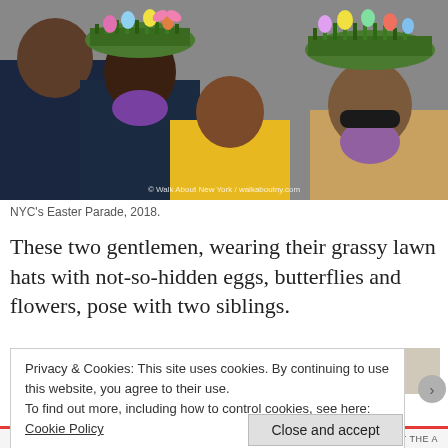[Figure (photo): NYC Easter Parade 2018 photo showing people wearing grassy lawn hats decorated with eggs, butterflies and flowers. A child in a yellow jacket is in the center. A man with purple glitter beard and sunglasses is on the right. A watermark reads Walk About New York / walkaboutny.com]
NYC's Easter Parade, 2018.
These two gentlemen, wearing their grassy lawn hats with not-so-hidden eggs, butterflies and flowers, pose with two siblings.
Privacy & Cookies: This site uses cookies. By continuing to use this website, you agree to their use.
To find out more, including how to control cookies, see here: Cookie Policy
Close and accept